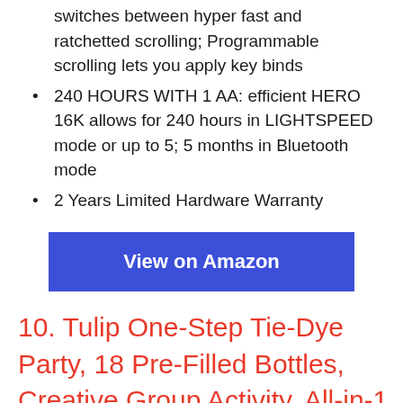switches between hyper fast and ratchetted scrolling; Programmable scrolling lets you apply key binds
240 HOURS WITH 1 AA: efficient HERO 16K allows for 240 hours in LIGHTSPEED mode or up to 5; 5 months in Bluetooth mode
2 Years Limited Hardware Warranty
View on Amazon
10. Tulip One-Step Tie-Dye Party, 18 Pre-Filled Bottles, Creative Group Activity, All-in-1 Fashion Design Kit, 1 Pack,